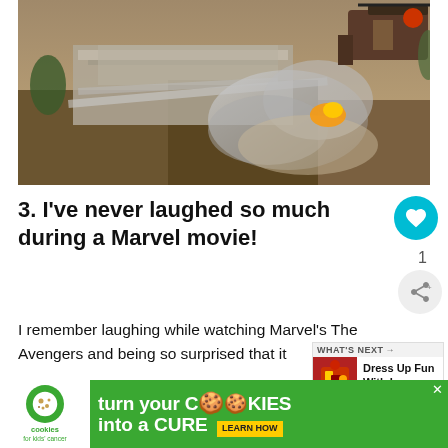[Figure (photo): Movie still from Iron Man 3 showing aerial combat scene with helicopters attacking a cliffside mansion, explosions, and smoke]
3. I've never laughed so much during a Marvel movie!
I remember laughing while watching Marvel's The Avengers and being so surprised that it was as funny as it was. Iron Man 3 is even funnier, so
[Figure (infographic): WHAT'S NEXT callout box with thumbnail image showing Iron Man costume and text: Dress Up Fun With Iron Man...]
[Figure (infographic): Advertisement banner: cookies for kids cancer - turn your COOKIES into a CURE LEARN HOW]